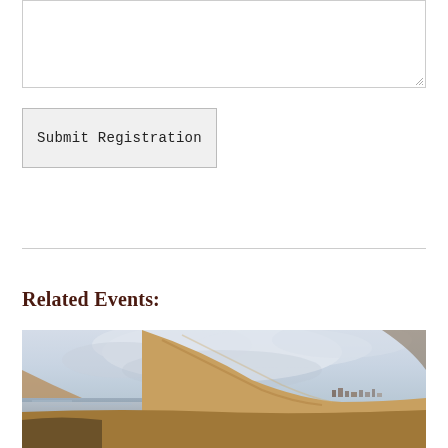[Figure (screenshot): A textarea input box with resize handle in bottom-right corner]
Submit Registration
Related Events:
[Figure (illustration): A landscape painting showing hills, a body of water, cloudy sky, and distant buildings at the base of the hills — likely a watercolor or oil painting of a coastal or lakeside town.]